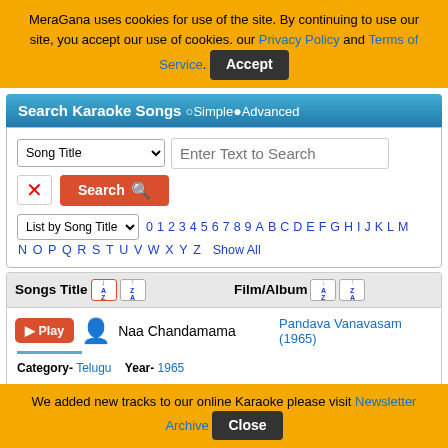MeraGana uses cookies for use of the site. By continuing to use our site, you accept our use of cookies. our Privacy Policy and Terms of Service. Accept
Search Karaoke Songs ○Simple ●Advanced
Song Title [dropdown] | Enter Text to Search
✕ | Search 🔍
List by Song Title [dropdown] 0 1 2 3 4 5 6 7 8 9 A B C D E F G H I J K L M
N O P Q R S T U V W X Y Z   Show All
| Songs Title ↓A↑Z ↑A↓Z | Film/Album ↓A↑Z ↑A↓Z |
| --- | --- |
| Naa Chandamama | Pandava Vanavasam (1965) |
| Category- Telugu   Year- 1965
Lyricist- Samudrala
Music Director- Ghantasala Venkateswara Rao
Singer- P Susheela, Ghantasala Venkateswara |  |
We added new tracks to our online Karaoke please visit Newsletter Archive   Close